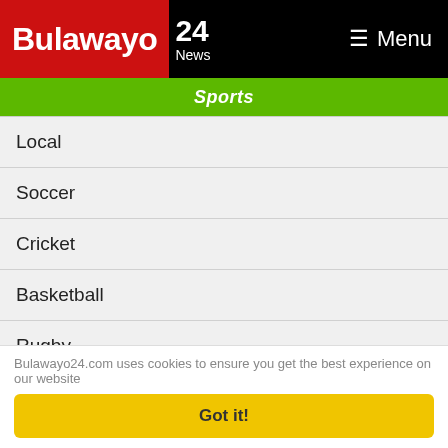Bulawayo 24 News — Menu
Sports
Local
Soccer
Cricket
Basketball
Rugby
Schools
Live
Other
Business
Bulawayo24.com uses cookies to ensure you get the best experience on our website
Got it!